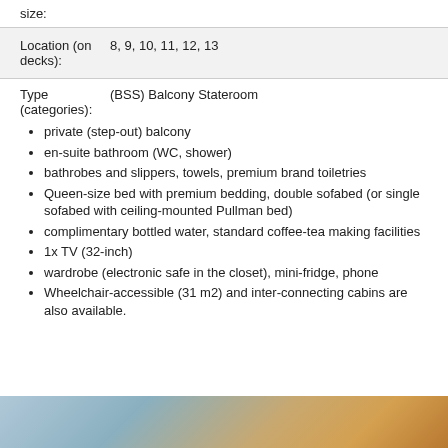size:
| Location (on decks): | 8, 9, 10, 11, 12, 13 |
Type (categories):   (BSS) Balcony Stateroom
private (step-out) balcony
en-suite bathroom (WC, shower)
bathrobes and slippers, towels, premium brand toiletries
Queen-size bed with premium bedding, double sofabed (or single sofabed with ceiling-mounted Pullman bed)
complimentary bottled water, standard coffee-tea making facilities
1x TV (32-inch)
wardrobe (electronic safe in the closet), mini-fridge, phone
Wheelchair-accessible (31 m2) and inter-connecting cabins are also available.
[Figure (photo): Partial photo of a cruise ship stateroom interior, showing warm tones]